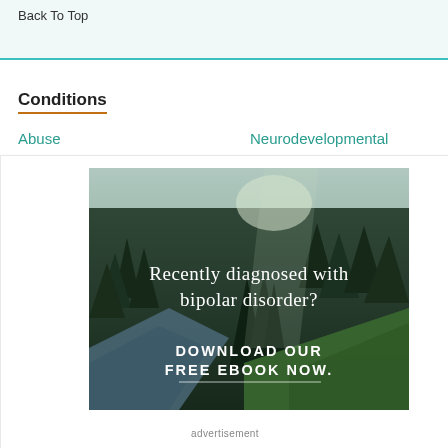Back To Top
Conditions
Abuse
Neurodevelopmental
[Figure (photo): Forest landscape with river and pine trees. Text overlay reads: 'Recently diagnosed with bipolar disorder? DOWNLOAD OUR FREE EBOOK NOW.']
advertisement